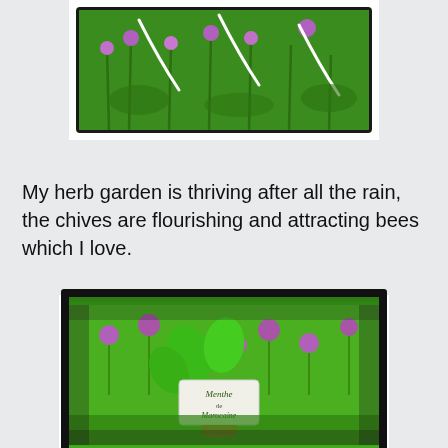[Figure (photo): Photo of chives growing in a herb garden with purple flowers, shown in a framed tablet-like display with a dark border on a light grey background.]
My herb garden is thriving after all the rain, the chives are flourishing and attracting bees which I love.
[Figure (photo): Photo of Moroccan mint plant (Menthe Marocaine) in a pot with a label, set against a background of herb garden with purple chive flowers. The image has a rough black torn-paper style border.]